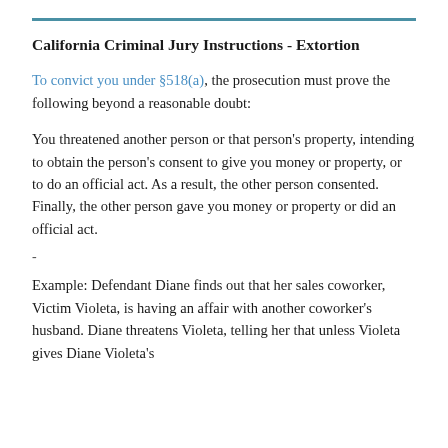California Criminal Jury Instructions - Extortion
To convict you under §518(a), the prosecution must prove the following beyond a reasonable doubt:
You threatened another person or that person's property, intending to obtain the person's consent to give you money or property, or to do an official act. As a result, the other person consented. Finally, the other person gave you money or property or did an official act.
-
Example: Defendant Diane finds out that her sales coworker, Victim Violeta, is having an affair with another coworker's husband. Diane threatens Violeta, telling her that unless Violeta gives Diane Violeta's